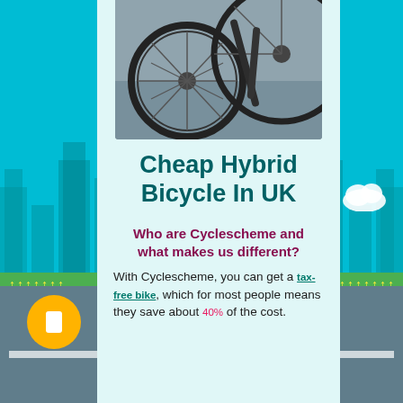[Figure (photo): Close-up photo of bicycle wheels/tires on a road surface]
Cheap Hybrid Bicycle In UK
Who are Cyclescheme and what makes us different?
With Cyclescheme, you can get a tax-free bike, which for most people means they save about 40% of the cost.